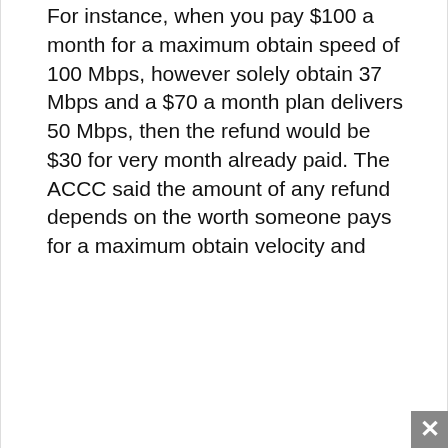For instance, when you pay $100 a month for a maximum obtain speed of 100 Mbps, however solely obtain 37 Mbps and a $70 a month plan delivers 50 Mbps, then the refund would be $30 for very month already paid. The ACCC said the amount of any refund depends on the worth someone pays for a maximum obtain velocity and
We use cookies on our website to give you the most relevant experience by remembering your preferences and repeat visits. By clicking “Accept”, you consent to the use of all cookies.
Accept
rely on the worth distinction between different kinds of Elemental Staves, your
potential to relocate rapidly, and your APM (actions per minute), as there can be A variety of clicking in the course of the